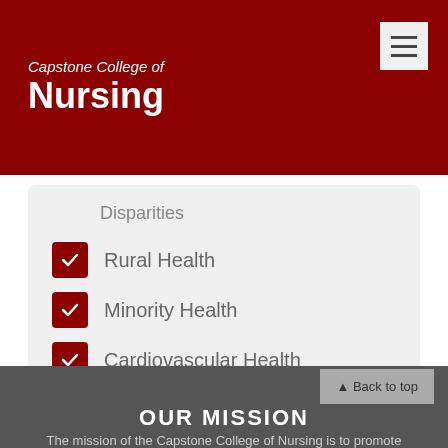Capstone College of Nursing
Disparities
Rural Health
Minority Health
Cardiovascular Health
OUR MISSION
The mission of the Capstone College of Nursing is to promote